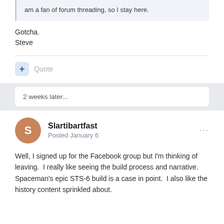am a fan of forum threading, so I stay here.
Gotcha.
Steve
Quote
2 weeks later...
Slartibartfast
Posted January 6
Well, I signed up for the Facebook group but I'm thinking of leaving.  I really like seeing the build process and narrative.  Spaceman's epic STS-6 build is a case in point.  I also like the history content sprinkled about.